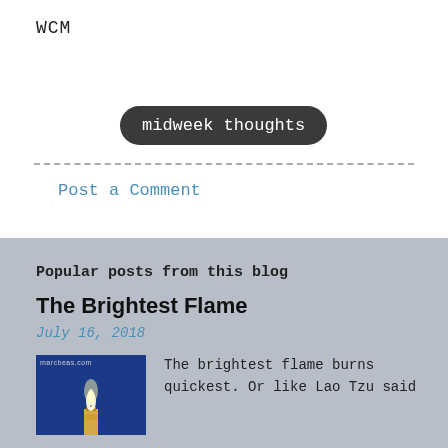WCM
midweek thoughts
Post a Comment
Popular posts from this blog
The Brightest Flame
July 16, 2018
[Figure (photo): Candle with bright flame against dark blue background, marcbeas.com watermark]
The brightest flame burns quickest. Or like Lao Tzu said